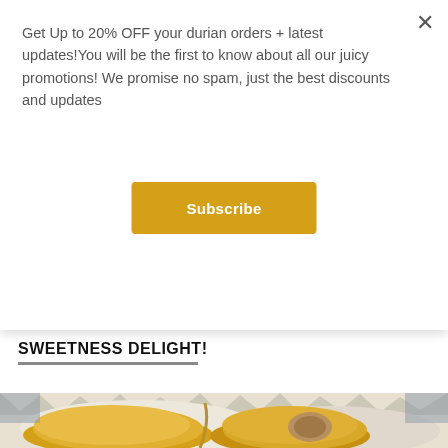Get Up to 20% OFF your durian orders + latest updates!You will be the first to know about all our juicy promotions! We promise no spam, just the best discounts and updates
Subscribe
SWEETNESS DELIGHT!
[Figure (photo): Close-up photo of opened durian fruit showing large yellow flesh lobes inside the spiky white husk shell]